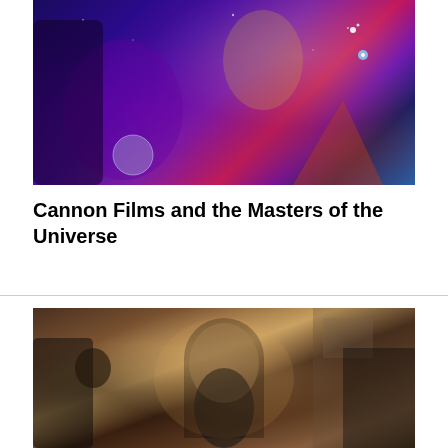[Figure (photo): Movie poster or promotional art for Masters of the Universe featuring a muscular blond hero in armor against a cosmic purple and blue background with a dark skeletal villain]
Cannon Films and the Masters of the Universe
[Figure (photo): Film still showing a blonde woman in a black dress dancing or performing, with other people in dark clothing and masks visible in the background in a dimly lit stone interior setting]